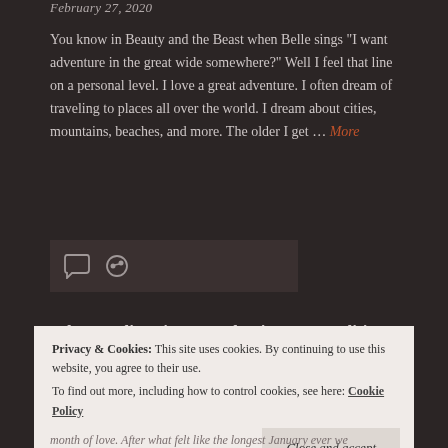February 27, 2020
You know in Beauty and the Beast when Belle sings "I want adventure in the great wide somewhere?" Well I feel that line on a personal level. I love a great adventure. I often dream of traveling to places all over the world. I dream about cities, mountains, beaches, and more. The older I get … More
[Figure (other): Icon bar with comment and link icons on dark background]
What I'm listening to: Valentine's Day Edition
Privacy & Cookies: This site uses cookies. By continuing to use this website, you agree to their use. To find out more, including how to control cookies, see here: Cookie Policy
month of love. After what felt like the longest January ever we